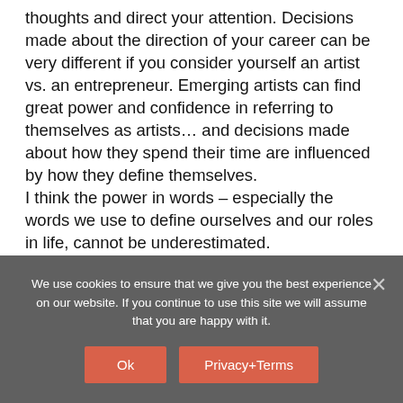thoughts and direct your attention. Decisions made about the direction of your career can be very different if you consider yourself an artist vs. an entrepreneur. Emerging artists can find great power and confidence in referring to themselves as artists… and decisions made about how they spend their time are influenced by how they define themselves. I think the power in words – especially the words we use to define ourselves and our roles in life, cannot be underestimated.
We use cookies to ensure that we give you the best experience on our website. If you continue to use this site we will assume that you are happy with it.